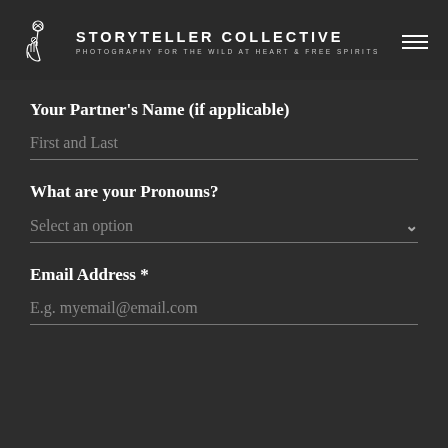STORYTELLER COLLECTIVE — PHOTOGRAPHY FOR THE WILD AT HEART & FREE SPIRITS
Your Partner's Name (if applicable)
First and Last
What are your Pronouns?
Select an option
Email Address *
E.g. myemail@email.com